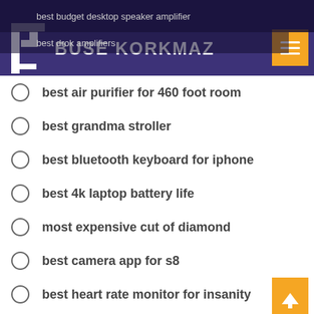BUSE KORKMAZ
best budget desktop speaker amplifier
best drok amplifiers
best air purifier for 460 foot room
best grandma stroller
best bluetooth keyboard for iphone
best 4k laptop battery life
most expensive cut of diamond
best camera app for s8
best heart rate monitor for insanity
best allclear cordless mosquito mister
best laptop under 2500
best headphones for guitar amplifier